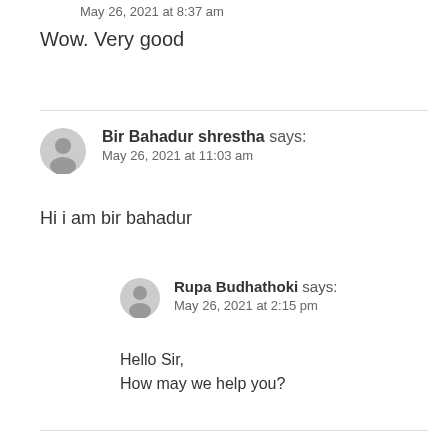May 26, 2021 at 8:37 am
Wow. Very good
Bir Bahadur shrestha says:
May 26, 2021 at 11:03 am
Hi i am bir bahadur
Rupa Budhathoki says:
May 26, 2021 at 2:15 pm
Hello Sir,
How may we help you?